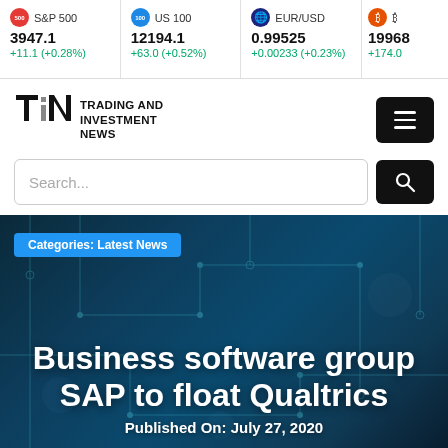S&P 500 3947.1 +11.1 (+0.28%) | US 100 12194.1 +63.0 (+0.52%) | EUR/USD 0.99525 +0.00233 (+0.23%) | 19968 +174.0
[Figure (logo): Trading and Investment News logo with TIN monogram]
Search...
Categories: Latest News
Business software group SAP to float Qualtrics
Published On: July 27, 2020